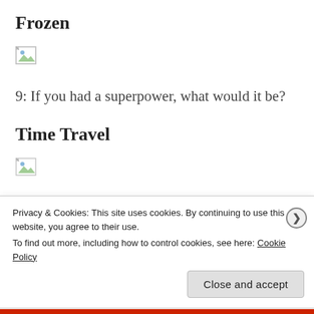Frozen
[Figure (other): Broken image placeholder icon]
9: If you had a superpower, what would it be?
Time Travel
[Figure (other): Broken image placeholder icon]
Privacy & Cookies: This site uses cookies. By continuing to use this website, you agree to their use.
To find out more, including how to control cookies, see here: Cookie Policy
Close and accept